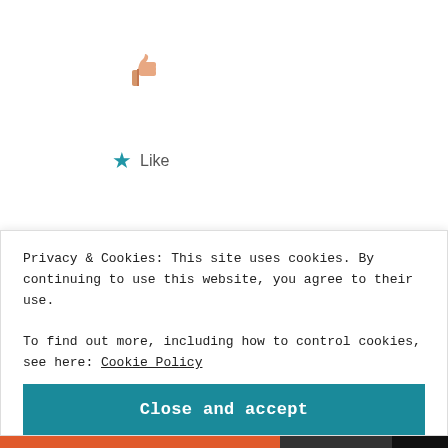[Figure (illustration): Thumbs up emoji icon in peach/skin tone color]
★ Like
Reply
Puzzles of the Soul
October 23, 2018 at 4:25 am
[Figure (photo): Avatar photo of a woman with long red hair]
Privacy & Cookies: This site uses cookies. By continuing to use this website, you agree to their use.
To find out more, including how to control cookies, see here: Cookie Policy
Close and accept